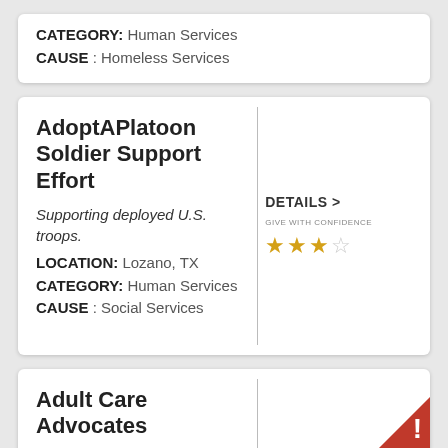CATEGORY: Human Services
CAUSE : Homeless Services
AdoptAPlatoon Soldier Support Effort
Supporting deployed U.S. troops.
LOCATION: Lozano, TX
CATEGORY: Human Services
CAUSE : Social Services
DETAILS >
GIVE WITH CONFIDENCE ★★★☆
Adult Care Advocates
LOCATION: York, PA
High Advisory